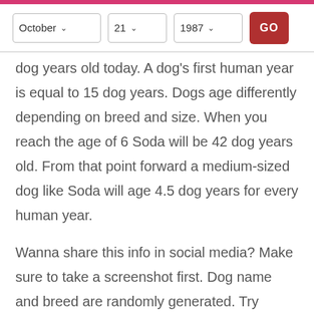[Figure (screenshot): Web UI controls row with dropdown selectors for October, 21, 1987 and a red GO button]
dog years old today. A dog's first human year is equal to 15 dog years. Dogs age differently depending on breed and size. When you reach the age of 6 Soda will be 42 dog years old. From that point forward a medium-sized dog like Soda will age 4.5 dog years for every human year.
Wanna share this info in social media? Make sure to take a screenshot first. Dog name and breed are randomly generated. Try reloading this page to see a new pet name and a different